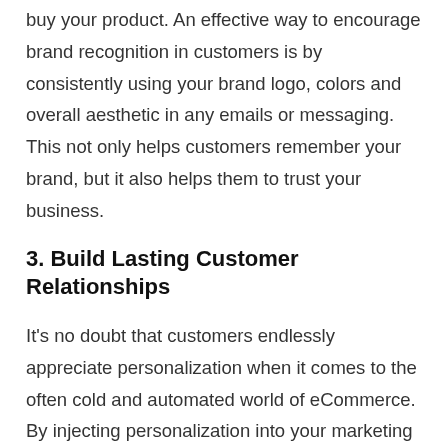buy your product. An effective way to encourage brand recognition in customers is by consistently using your brand logo, colors and overall aesthetic in any emails or messaging. This not only helps customers remember your brand, but it also helps them to trust your business.
3. Build Lasting Customer Relationships
It's no doubt that customers endlessly appreciate personalization when it comes to the often cold and automated world of eCommerce. By injecting personalization into your marketing efforts and connecting directly with customer's specific